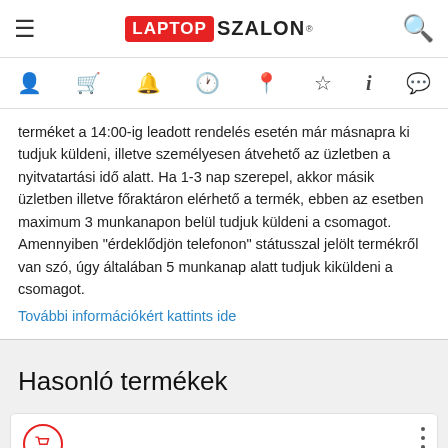LAPTOP SZALON
terméket a 14:00-ig leadott rendelés esetén már másnapra ki tudjuk küldeni, illetve személyesen átvehető az üzletben a nyitvatartási idő alatt. Ha 1-3 nap szerepel, akkor másik üzletben illetve főraktáron elérhető a termék, ebben az esetben maximum 3 munkanapon belül tudjuk küldeni a csomagot. Amennyiben "érdeklődjön telefonon" státusszal jelölt termékről van szó, úgy általában 5 munkanap alatt tudjuk kiküldeni a csomagot.
További információkért kattints ide
Hasonló termékek